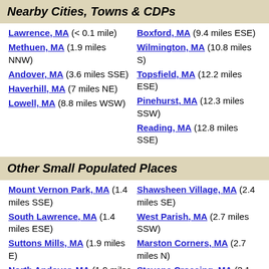Nearby Cities, Towns & CDPs
Lawrence, MA (< 0.1 mile)
Methuen, MA (1.9 miles NNW)
Andover, MA (3.6 miles SSE)
Haverhill, MA (7 miles NE)
Lowell, MA (8.8 miles WSW)
Boxford, MA (9.4 miles ESE)
Wilmington, MA (10.8 miles S)
Topsfield, MA (12.2 miles ESE)
Pinehurst, MA (12.3 miles SSW)
Reading, MA (12.8 miles SSE)
Other Small Populated Places
Mount Vernon Park, MA (1.4 miles SSE)
South Lawrence, MA (1.4 miles ESE)
Suttons Mills, MA (1.9 miles E)
North Andover, MA (1.9 miles E)
Shawsheen Heights, MA (1.9 miles SSE)
Shawsheen Village, MA (2.4 miles SE)
West Parish, MA (2.7 miles SSW)
Marston Corners, MA (2.7 miles N)
Stevens Crossing, MA (3.1 miles ESE)
West Andover, MA (3.1 miles SSE)
Massachusetts Census Data Comparison